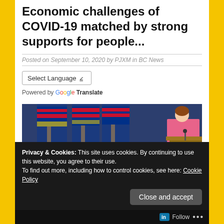Economic challenges of COVID-19 matched by strong supports for people...
Posted on September 10, 2020 by PJXM in BC News
[Figure (screenshot): Language selector widget showing 'Select Language' dropdown with Google Translate branding]
[Figure (photo): A person in a pink jacket standing at a podium with BC flags in the background]
Privacy & Cookies: This site uses cookies. By continuing to use this website, you agree to their use.
To find out more, including how to control cookies, see here: Cookie Policy
Close and accept